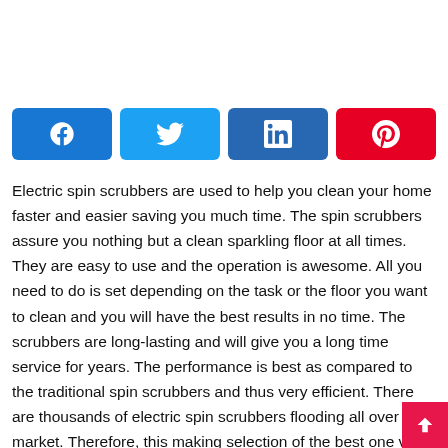[Figure (infographic): Social share buttons row: Facebook (blue), Twitter (light blue), LinkedIn (dark blue), Pinterest (red)]
Electric spin scrubbers are used to help you clean your home faster and easier saving you much time. The spin scrubbers assure you nothing but a clean sparkling floor at all times. They are easy to use and the operation is awesome. All you need to do is set depending on the task or the floor you want to clean and you will have the best results in no time. The scrubbers are long-lasting and will give you a long time service for years. The performance is best as compared to the traditional spin scrubbers and thus very efficient. There are thousands of electric spin scrubbers flooding all over the market. Therefore, this making selection of the best one very hard and you will fair